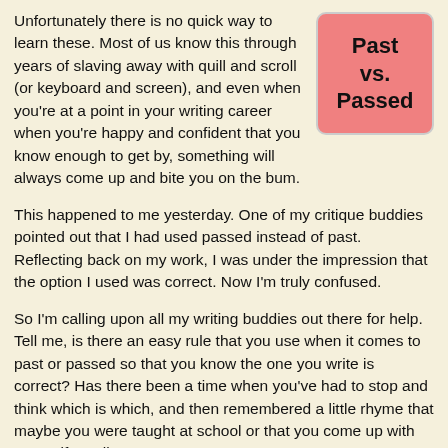Unfortunately there is no quick way to learn these. Most of us know this through years of slaving away with quill and scroll (or keyboard and screen), and even when you're at a point in your writing career when you're happy and confident that you know enough to get by, something will always come up and bite you on the bum.
[Figure (other): Pink rounded rectangle box with bold text reading 'Past vs. Passed']
This happened to me yesterday. One of my critique buddies pointed out that I had used passed instead of past. Reflecting back on my work, I was under the impression that the option I used was correct. Now I'm truly confused.
So I'm calling upon all my writing buddies out there for help. Tell me, is there an easy rule that you use when it comes to past or passed so that you know the one you write is correct? Has there been a time when you've had to stop and think which is which, and then remembered a little rhyme that maybe you were taught at school or that you come up with yourself to tell you???